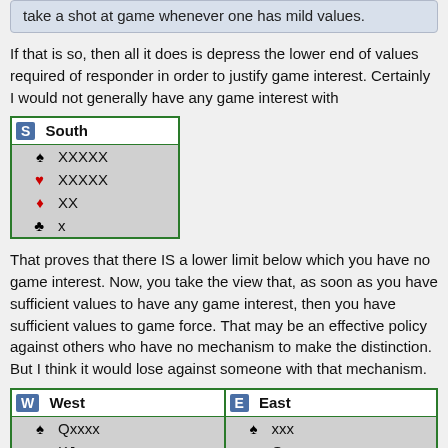take a shot at game whenever one has mild values.
If that is so, then all it does is depress the lower end of values required of responder in order to justify game interest. Certainly I would not generally have any game interest with
| S South |
| --- |
| ♠ XXXXX |
| ♥ XXXXX |
| ♦ XX |
| ♣ x |
That proves that there IS a lower limit below which you have no game interest. Now, you take the view that, as soon as you have sufficient values to have any game interest, then you have sufficient values to game force. That may be an effective policy against others who have no mechanism to make the distinction. But I think it would lose against someone with that mechanism.
| W West | E East |
| --- | --- |
| ♠ Qxxxx | ♠ xxx |
| ♥ KJxxx | ♥ Qx |
| ♦ KJ | ♦ AQxx |
| ♣ x | ♣ KQJx |
Example 1: